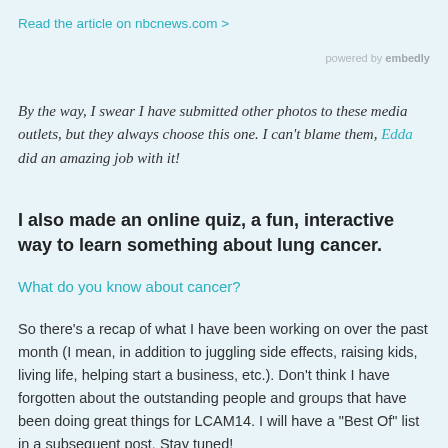Read the article on nbcnews.com >
powered by embedly
By the way, I swear I have submitted other photos to these media outlets, but they always choose this one. I can't blame them, Edda did an amazing job with it!
I also made an online quiz, a fun, interactive way to learn something about lung cancer.
What do you know about cancer?
So there's a recap of what I have been working on over the past month (I mean, in addition to juggling side effects, raising kids, living life, helping start a business, etc.). Don't think I have forgotten about the outstanding people and groups that have been doing great things for LCAM14. I will have a "Best Of" list in a subsequent post. Stay tuned!